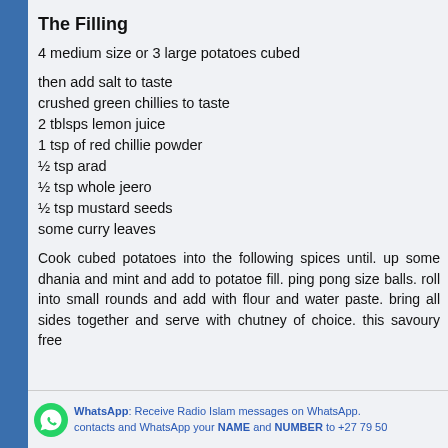The Filling
4 medium size or 3 large potatoes cubed
then add salt to taste
crushed green chillies to taste
2 tblsps lemon juice
1 tsp of red chillie powder
½ tsp arad
½ tsp whole jeero
½ tsp mustard seeds
some curry leaves
Cook cubed potatoes into the following spices until. up some dhania and mint and add to potatoe fill. ping pong size balls. roll into small rounds and add with flour and water paste. bring all sides together and serve with chutney of choice. this savoury free
WhatsApp: Receive Radio Islam messages on WhatsApp. contacts and WhatsApp your NAME and NUMBER to +27 79 50